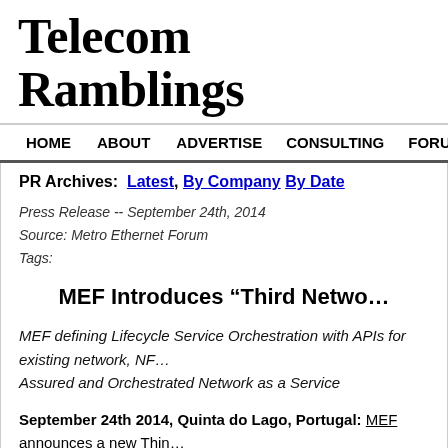Telecom Ramblings
HOME  ABOUT  ADVERTISE  CONSULTING  FORUMS  JOBS  CO...
PR Archives:  Latest, By Company By Date
Press Release -- September 24th, 2014
Source: Metro Ethernet Forum
Tags:
MEF Introduces “Third Netwo…
MEF defining Lifecycle Service Orchestration with APIs for existing network, NF... Assured and Orchestrated Network as a Service
September 24th 2014, Quinta do Lago, Portugal: MEF announces a new Thin... agility and ubiquity with CE 2.0-like performance and security. The Third Netwo... (NaaS) principles, builds upon the MEF’s extensive body of CE 2.0 work and pro... ...based Third Network initiatives include Service Orchestration...